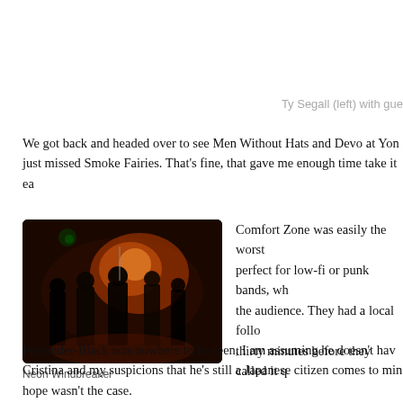Ty Segall (left) with gue
We got back and headed over to see Men Without Hats and Devo at Yon just missed Smoke Fairies. That's fine, that gave me enough time take it ea
[Figure (photo): Dark concert photo showing band performing on stage with orange/red lighting, people visible]
Neon Windbreaker
Comfort Zone was easily the worst perfect for low-fi or punk bands, wh the audience. They had a local follo thirty minutes before they called it q
Meanwhile, there was a band that pl and they played the same set of song
Peelander-Black was nowhere to be seen, I am assuming he doesn't hav Cristina and my suspicions that he's still a Japanese citizen comes to min hope wasn't the case.